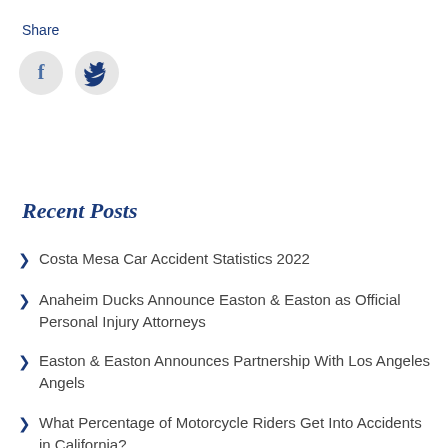Share
[Figure (illustration): Social sharing icons: Facebook (f) and Twitter (bird) as circular grey buttons]
Recent Posts
Costa Mesa Car Accident Statistics 2022
Anaheim Ducks Announce Easton & Easton as Official Personal Injury Attorneys
Easton & Easton Announces Partnership With Los Angeles Angels
What Percentage of Motorcycle Riders Get Into Accidents in California?